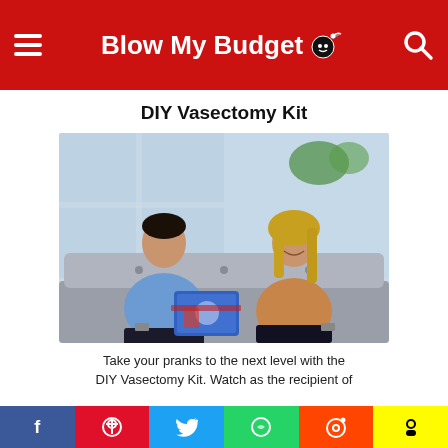Blow My Budget
DIY Vasectomy Kit
[Figure (photo): A man and woman sitting on a grey tufted couch. The man is looking down at a colorful box (DIY Vasectomy Kit prank gift) while the woman beside him smiles and laughs.]
Take your pranks to the next level with the DIY Vasectomy Kit. Watch as the recipient of